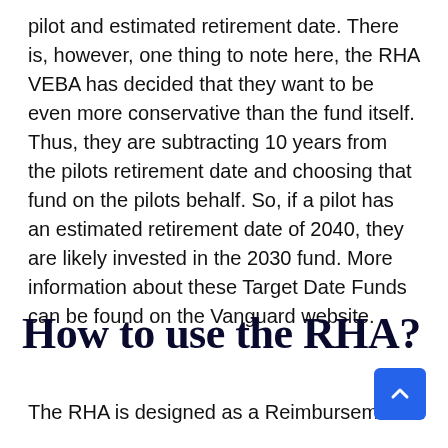pilot and estimated retirement date. There is, however, one thing to note here, the RHA VEBA has decided that they want to be even more conservative than the fund itself. Thus, they are subtracting 10 years from the pilots retirement date and choosing that fund on the pilots behalf. So, if a pilot has an estimated retirement date of 2040, they are likely invested in the 2030 fund. More information about these Target Date Funds can be found on the Vanguard website.
How to use the RHA?
The RHA is designed as a Reimbursement